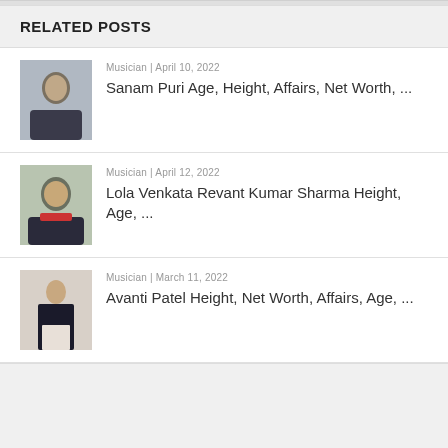RELATED POSTS
Musician | April 10, 2022
Sanam Puri Age, Height, Affairs, Net Worth, ...
Musician | April 12, 2022
Lola Venkata Revant Kumar Sharma Height, Age, ...
Musician | March 11, 2022
Avanti Patel Height, Net Worth, Affairs, Age, ...